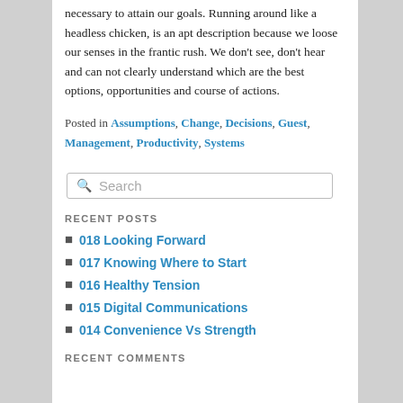necessary to attain our goals. Running around like a headless chicken, is an apt description because we loose our senses in the frantic rush. We don't see, don't hear and can not clearly understand which are the best options, opportunities and course of actions.
Posted in Assumptions, Change, Decisions, Guest, Management, Productivity, Systems
[Figure (other): Search input box with magnifying glass icon and placeholder text 'Search']
RECENT POSTS
018 Looking Forward
017 Knowing Where to Start
016 Healthy Tension
015 Digital Communications
014 Convenience Vs Strength
RECENT COMMENTS